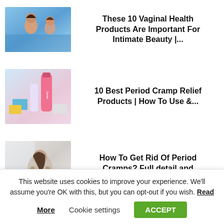[Figure (photo): Two women smiling in a pool]
These 10 Vaginal Health Products Are Important For Intimate Beauty |...
[Figure (photo): Period cramp relief products including Sante spray and feminine hygiene items]
10 Best Period Cramp Relief Products | How To Use &...
[Figure (photo): Woman sitting on bed hunched over in pain]
How To Get Rid Of Period Cramps? Full detail and Product...
This website uses cookies to improve your experience. We'll assume you're OK with this, but you can opt-out if you wish. Read More   Cookie settings   ACCEPT